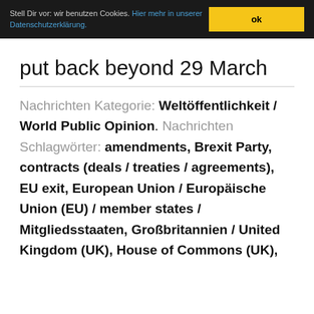Stell Dir vor: wir benutzen Cookies. Hier mehr in unserer Datenschutzerklärung. ok
put back beyond 29 March
Nachrichten Kategorie: Weltöffentlichkeit / World Public Opinion. Nachrichten Schlagwörter: amendments, Brexit Party, contracts (deals / treaties / agreements), EU exit, European Union / Europäische Union (EU) / member states / Mitgliedsstaaten, Großbritannien / United Kingdom (UK), House of Commons (UK),